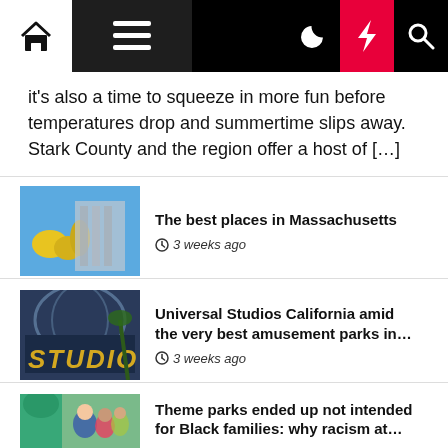Navigation bar with home, menu, moon, lightning, and search icons
It's also a time to squeeze in more fun before temperatures drop and summertime slips away. Stark County and the region offer a host of […]
[Figure (photo): Photo related to Massachusetts places]
The best places in Massachusetts
3 weeks ago
[Figure (photo): Universal Studios California sign photo]
Universal Studios California amid the very best amusement parks in…
3 weeks ago
[Figure (photo): Theme park with Black family and character]
Theme parks ended up not intended for Black families: why racism at…
3 weeks ago
[Figure (photo): Partial thumbnail of another article at bottom]